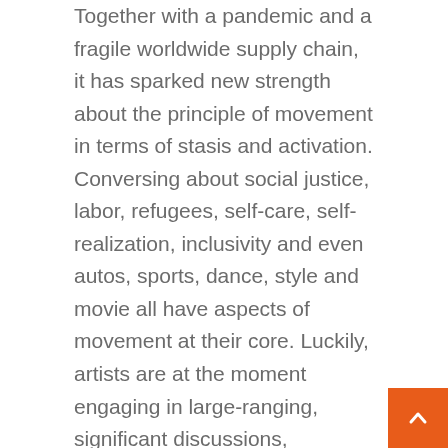Together with a pandemic and a fragile worldwide supply chain, it has sparked new strength about the principle of movement in terms of stasis and activation. Conversing about social justice, labor, refugees, self-care, self-realization, inclusivity and even autos, sports, dance, style and movie all have aspects of movement at their core. Luckily, artists are at the moment engaging in large-ranging, significant discussions, interpreting what it signifies to get from level A to point Z.
[Figure (other): Broken image placeholder labeled JuxtapozMagazine222]
The Summertime 2022 quarterly is our option to delve into movement as an evolving and elastic idea. Jenny Holzer, ever anti-authoritarian and the consumate illustration of how and where by we problem electric power buildings, is the epitome of going language by